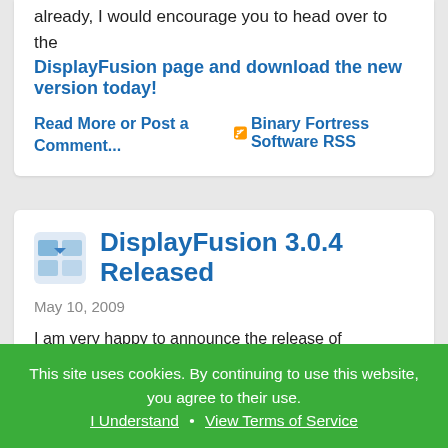already, I would encourage you to head over to the DisplayFusion page and download the new version today!
Read More or Post a Comment...
Binary Fortress Software RSS
DisplayFusion 3.0.4 Released
May 10, 2009
I am very happy to announce the release of DisplayFusion 3.0.4! This new version has some important bug fixes, along
This site uses cookies. By continuing to use this website, you agree to their use. I Understand • View Terms of Service
DisplayFusion taskbar items, just like the Windows ones.